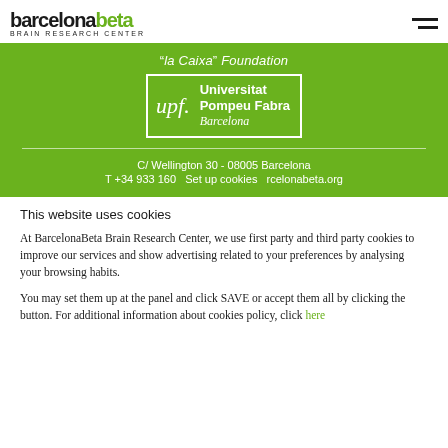barcelonabeta BRAIN RESEARCH CENTER
[Figure (logo): "la Caixa" Foundation - Universitat Pompeu Fabra Barcelona logo on green background with address C/ Wellington 30 - 08005 Barcelona, T +34 933 160, barcelonabeta.org. Cookie overlay text: Set up cookies]
This website uses cookies
At BarcelonaBeta Brain Research Center, we use first party and third party cookies to improve our services and show advertising related to your preferences by analysing your browsing habits.
You may set them up at the panel and click SAVE or accept them all by clicking the button. For additional information about cookies policy, click here